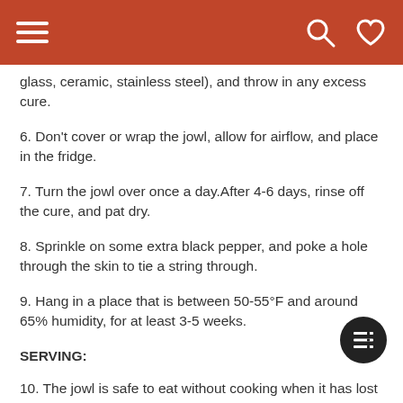Navigation header with hamburger menu, search icon, and heart icon
glass, ceramic, stainless steel), and throw in any excess cure.
6. Don't cover or wrap the jowl, allow for airflow, and place in the fridge.
7. Turn the jowl over once a day.After 4-6 days, rinse off the cure, and pat dry.
8. Sprinkle on some extra black pepper, and poke a hole through the skin to tie a string through.
9. Hang in a place that is between 50-55°F and around 65% humidity, for at least 3-5 weeks.
SERVING:
10. The jowl is safe to eat without cooking when it has lost 30% of it's original weight.